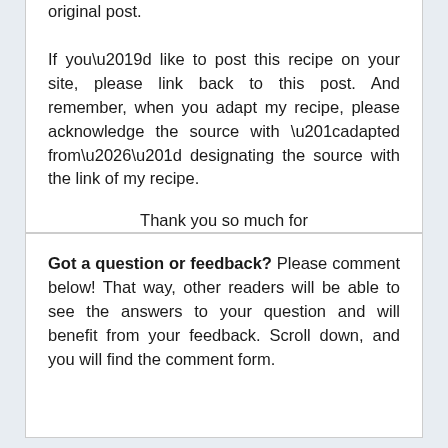original post. If you’d like to post this recipe on your site, please link back to this post. And remember, when you adapt my recipe, please acknowledge the source with “adapted from…” designating the source with the link of my recipe.
Thank you so much for commenting, reading, supporting, and sharing.
Got a question or feedback? Please comment below! That way, other readers will be able to see the answers to your question and will benefit from your feedback. Scroll down, and you will find the comment form.